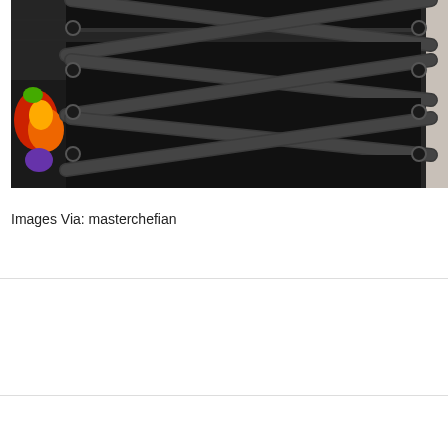[Figure (photo): Close-up photo of black shoe/sneaker laces criss-crossing over a dark fabric upper, with a colorful red, orange and yellow graphic/patch visible on the left side, and a light-colored background visible on the right edge.]
Images Via: masterchefian